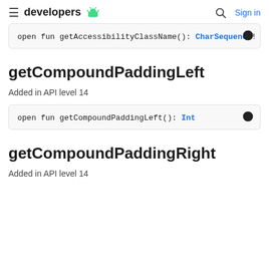developers
open fun getAccessibilityClassName(): CharSequence!
getCompoundPaddingLeft
Added in API level 14
open fun getCompoundPaddingLeft(): Int
getCompoundPaddingRight
Added in API level 14